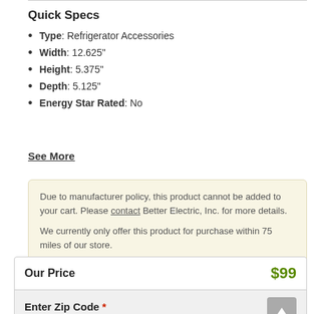Quick Specs
Type: Refrigerator Accessories
Width: 12.625"
Height: 5.375"
Depth: 5.125"
Energy Star Rated: No
See More
Due to manufacturer policy, this product cannot be added to your cart. Please contact Better Electric, Inc. for more details.

We currently only offer this product for purchase within 75 miles of our store.
Our Price  $99
Enter Zip Code * For delivery options and item availability.